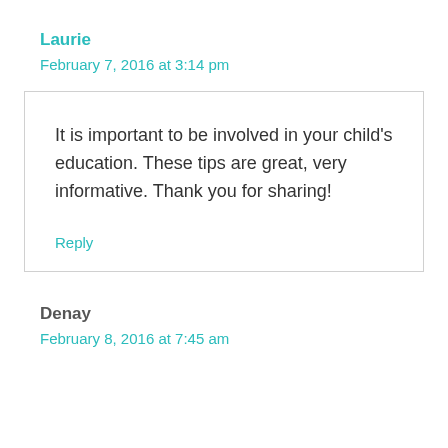Laurie
February 7, 2016 at 3:14 pm
It is important to be involved in your child's education. These tips are great, very informative. Thank you for sharing!
Reply
Denay
February 8, 2016 at 7:45 am